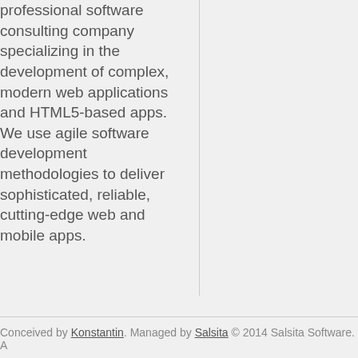professional software consulting company specializing in the development of complex, modern web applications and HTML5-based apps. We use agile software development methodologies to deliver sophisticated, reliable, cutting-edge web and mobile apps.
Hire us !
Conceived by Konstantin. Managed by Salsita © 2014 Salsita Software. A